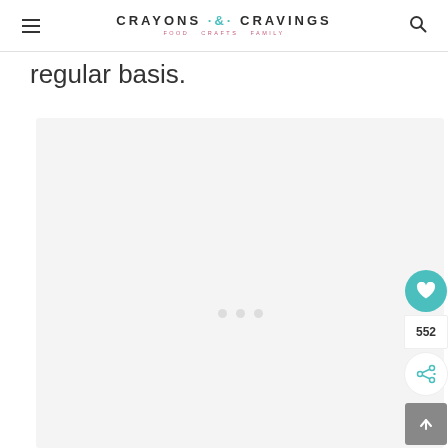CRAYONS & CRAVINGS — FOOD CRAFTS FAMILY
regular basis.
[Figure (photo): Large image placeholder area with loading dots, light gray background]
552